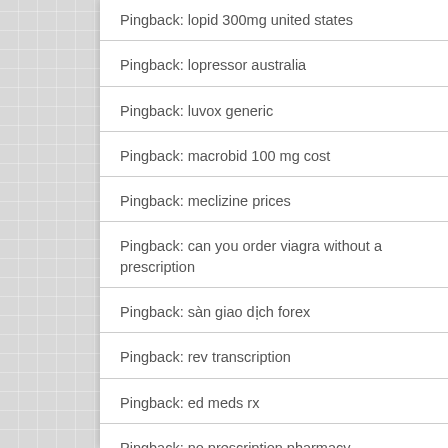Pingback: lopid 300mg united states
Pingback: lopressor australia
Pingback: luvox generic
Pingback: macrobid 100 mg cost
Pingback: meclizine prices
Pingback: can you order viagra without a prescription
Pingback: sàn giao dịch forex
Pingback: rev transcription
Pingback: ed meds rx
Pingback: no prescription pharmacy